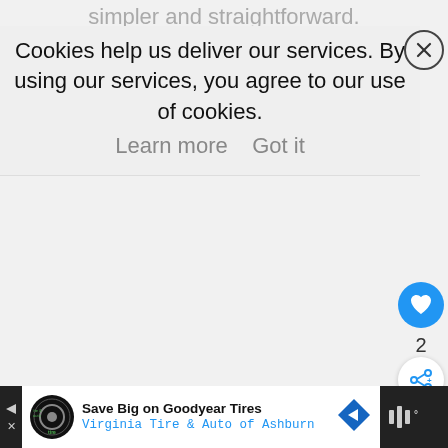simpler and straightforward.
Cookies help us deliver our services. By using our services, you agree to our use of cookies.  Learn more    Got it
[Figure (screenshot): Cookie consent banner with close (X) button, heart/like button (blue circle, count 2), share button (white circle), and bottom advertisement bar for Goodyear Tires / Virginia Tire & Auto of Ashburn]
2
Save Big on Goodyear Tires
Virginia Tire & Auto of Ashburn